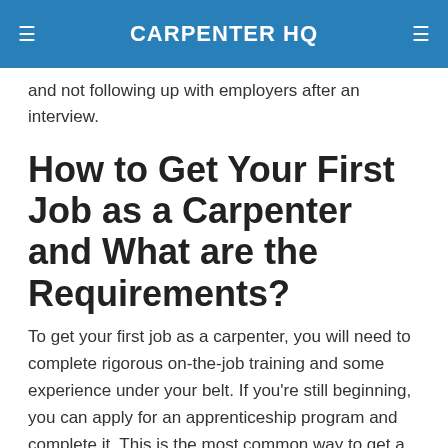CARPENTER HQ
and not following up with employers after an interview.
How to Get Your First Job as a Carpenter and What are the Requirements?
To get your first job as a carpenter, you will need to complete rigorous on-the-job training and some experience under your belt. If you're still beginning, you can apply for an apprenticeship program and complete it. This is the most common way to get a carpenter job. You can find these apprenticeships online, where you will be matched with a company that needs an apprentice carpenter.
Requirements for apprenticeship vary depending on the